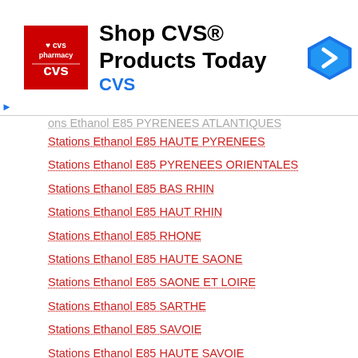[Figure (other): CVS Pharmacy advertisement banner with logo, text 'Shop CVS® Products Today', 'CVS' subtitle in blue, and a blue navigation arrow icon on the right]
ons Ethanol E85 PYRENEES ATLANTIQUES
Stations Ethanol E85 HAUTE PYRENEES
Stations Ethanol E85 PYRENEES ORIENTALES
Stations Ethanol E85 BAS RHIN
Stations Ethanol E85 HAUT RHIN
Stations Ethanol E85 RHONE
Stations Ethanol E85 HAUTE SAONE
Stations Ethanol E85 SAONE ET LOIRE
Stations Ethanol E85 SARTHE
Stations Ethanol E85 SAVOIE
Stations Ethanol E85 HAUTE SAVOIE
Stations Ethanol E85 PARIS
Stations Ethanol E85 SEINE MARITIME
Stations Ethanol E85 SEINE ET MARNE
Stations Ethanol E85 YVELINES
Stations Ethanol E85 DEUX SEVRES
Stations Ethanol E85 SOMME